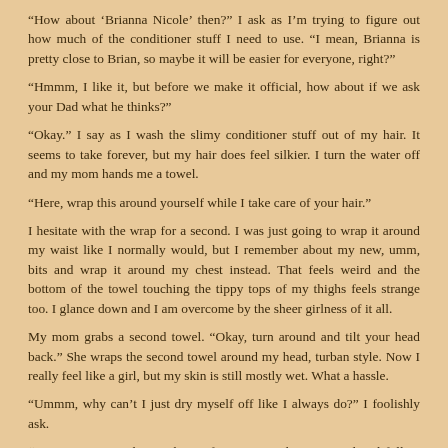“How about ‘Brianna Nicole’ then?” I ask as I’m trying to figure out how much of the conditioner stuff I need to use. “I mean, Brianna is pretty close to Brian, so maybe it will be easier for everyone, right?”
“Hmmm, I like it, but before we make it official, how about if we ask your Dad what he thinks?”
“Okay.” I say as I wash the slimy conditioner stuff out of my hair. It seems to take forever, but my hair does feel silkier. I turn the water off and my mom hands me a towel.
“Here, wrap this around yourself while I take care of your hair.”
I hesitate with the wrap for a second. I was just going to wrap it around my waist like I normally would, but I remember about my new, umm, bits and wrap it around my chest instead. That feels weird and the bottom of the towel touching the tippy tops of my thighs feels strange too. I glance down and I am overcome by the sheer girlness of it all.
My mom grabs a second towel. “Okay, turn around and tilt your head back.” She wraps the second towel around my head, turban style. Now I really feel like a girl, but my skin is still mostly wet. What a hassle.
“Ummm, why can’t I just dry myself off like I always do?” I foolishly ask.
“You mean, just rub your hair a few times with your towel and follow that up with the rest of your body and done?” She asks, completely understanding my unsaid question, yet still managing to sound like I am asking for something silly.